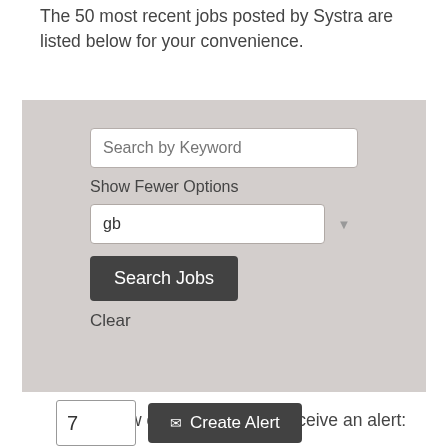The 50 most recent jobs posted by Systra are listed below for your convenience.
[Figure (screenshot): Search panel with gray background containing a 'Search by Keyword' input field, a 'Show Fewer Options' label, a text input with 'gb', a dark 'Search Jobs' button, and a 'Clear' link.]
Select how often (in days) to receive an alert:
[Figure (screenshot): A number input showing '7' and a dark 'Create Alert' button with an envelope icon.]